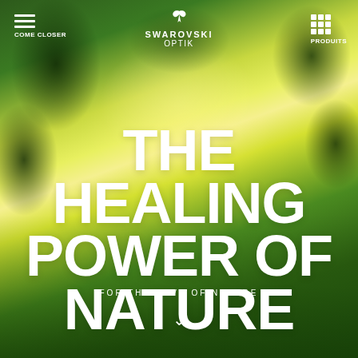[Figure (photo): Lush green forest with sunlight streaming through tree canopy, bright golden light at center, dense foliage and grass in foreground]
COME CLOSER   SWAROVSKI OPTIK   PRODUITS
THE HEALING POWER OF NATURE
FOR THE LOVE OF NATURE